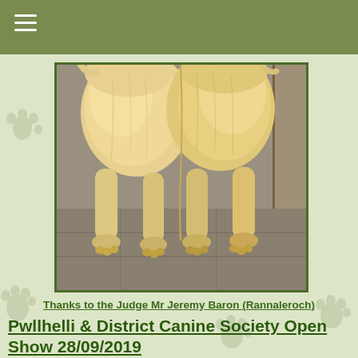[Figure (photo): Two golden retrievers seen from behind, standing side by side, showing their backs, hindquarters, and legs on a stone/pavement surface.]
Thanks to the Judge Mr Jeremy Baron (Rannaleroch)
Pwllhelli & District Canine Society Open Show 28/09/2019